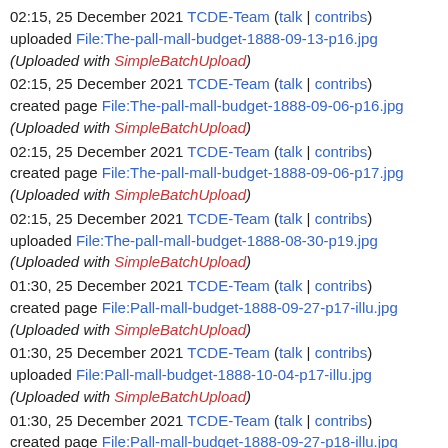02:15, 25 December 2021 TCDE-Team (talk | contribs) uploaded File:The-pall-mall-budget-1888-09-13-p16.jpg (Uploaded with SimpleBatchUpload)
02:15, 25 December 2021 TCDE-Team (talk | contribs) created page File:The-pall-mall-budget-1888-09-06-p16.jpg (Uploaded with SimpleBatchUpload)
02:15, 25 December 2021 TCDE-Team (talk | contribs) created page File:The-pall-mall-budget-1888-09-06-p17.jpg (Uploaded with SimpleBatchUpload)
02:15, 25 December 2021 TCDE-Team (talk | contribs) uploaded File:The-pall-mall-budget-1888-08-30-p19.jpg (Uploaded with SimpleBatchUpload)
01:30, 25 December 2021 TCDE-Team (talk | contribs) created page File:Pall-mall-budget-1888-09-27-p17-illu.jpg (Uploaded with SimpleBatchUpload)
01:30, 25 December 2021 TCDE-Team (talk | contribs) uploaded File:Pall-mall-budget-1888-10-04-p17-illu.jpg (Uploaded with SimpleBatchUpload)
01:30, 25 December 2021 TCDE-Team (talk | contribs) created page File:Pall-mall-budget-1888-09-27-p18-illu.jpg